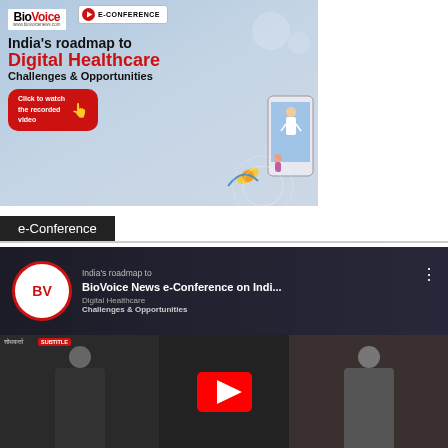[Figure (illustration): BioVoice News e-Conference advertisement banner for India's roadmap to Digital Healthcare - Challenges & Opportunities, with a red play button badge, CTA button to watch recorded video, and illustration of doctor on smartphone screen]
e-Conference
[Figure (screenshot): YouTube video thumbnail for BioVoice News e-Conference on India's roadmap to Digital Healthcare, showing the channel logo (BV circle), video title, and a conference panel screenshot below with YouTube play button overlay]